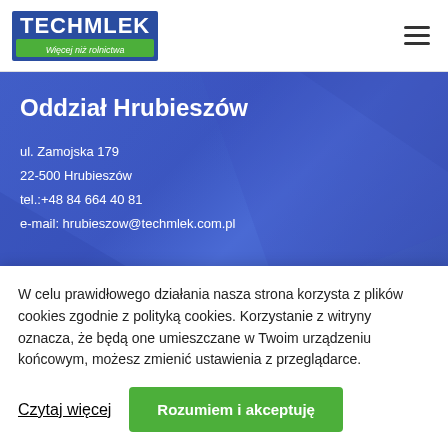[Figure (logo): Techmlek logo - blue background with white bold text TECHMLEK and green bar below with italic text Więcej niż rolnictwa]
Oddział Hrubieszów
ul. Zamojska 179
22-500 Hrubieszów
tel.:+48 84 664 40 81
e-mail: hrubieszow@techmlek.com.pl
W celu prawidłowego działania nasza strona korzysta z plików cookies zgodnie z polityką cookies. Korzystanie z witryny oznacza, że będą one umieszczane w Twoim urządzeniu końcowym, możesz zmienić ustawienia z przeglądarce.
Czytaj więcej
Rozumiem i akceptuję